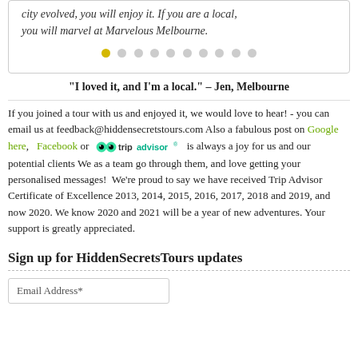city evolved, you will enjoy it. If you are a local, you will marvel at Marvelous Melbourne.
"I loved it, and I'm a local." – Jen, Melbourne
If you joined a tour with us and enjoyed it, we would love to hear! - you can email us at feedback@hiddensecretstours.com Also a fabulous post on Google here, Facebook or tripadvisor is always a joy for us and our potential clients We as a team go through them, and love getting your personalised messages!  We're proud to say we have received Trip Advisor Certificate of Excellence 2013, 2014, 2015, 2016, 2017, 2018 and 2019, and now 2020. We know 2020 and 2021 will be a year of new adventures. Your support is greatly appreciated.
Sign up for HiddenSecretsTours updates
Email Address*